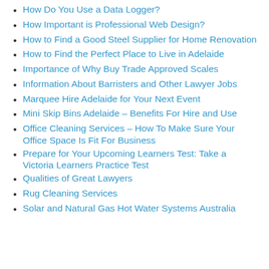How Do You Use a Data Logger?
How Important is Professional Web Design?
How to Find a Good Steel Supplier for Home Renovation
How to Find the Perfect Place to Live in Adelaide
Importance of Why Buy Trade Approved Scales
Information About Barristers and Other Lawyer Jobs
Marquee Hire Adelaide for Your Next Event
Mini Skip Bins Adelaide – Benefits For Hire and Use
Office Cleaning Services – How To Make Sure Your Office Space Is Fit For Business
Prepare for Your Upcoming Learners Test: Take a Victoria Learners Practice Test
Qualities of Great Lawyers
Rug Cleaning Services
Solar and Natural Gas Hot Water Systems Australia